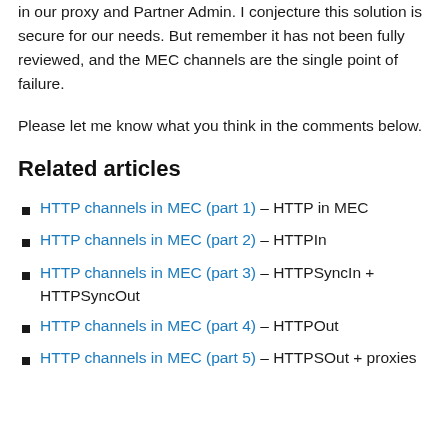in our proxy and Partner Admin. I conjecture this solution is secure for our needs. But remember it has not been fully reviewed, and the MEC channels are the single point of failure.
Please let me know what you think in the comments below.
Related articles
HTTP channels in MEC (part 1) – HTTP in MEC
HTTP channels in MEC (part 2) – HTTPIn
HTTP channels in MEC (part 3) – HTTPSyncIn + HTTPSyncOut
HTTP channels in MEC (part 4) – HTTPOut
HTTP channels in MEC (part 5) – HTTPSOut + proxies